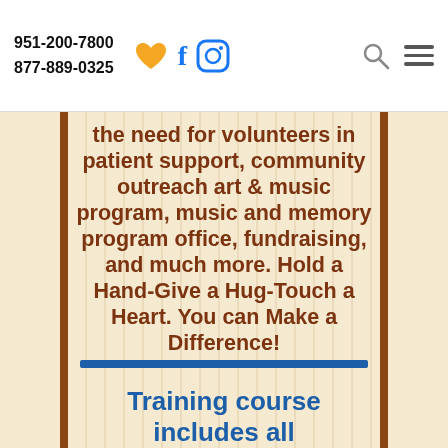951-200-7800
877-889-0325
the need for volunteers in patient support, community outreach art & music program, music and memory program office, fundraising, and much more. Hold a Hand-Give a Hug-Touch a Heart. You can Make a Difference!
Training course includes all